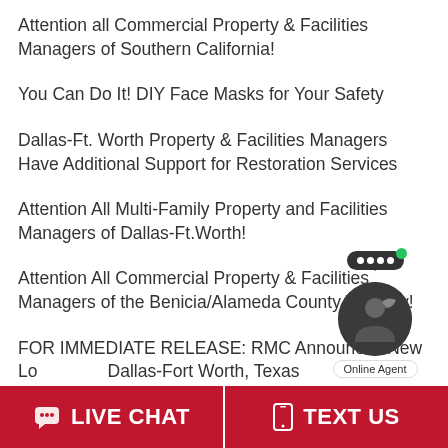Attention all Commercial Property & Facilities Managers of Southern California!
You Can Do It! DIY Face Masks for Your Safety
Dallas-Ft. Worth Property & Facilities Managers Have Additional Support for Restoration Services
Attention All Multi-Family Property and Facilities Managers of Dallas-Ft.Worth!
Attention All Commercial Property & Facilities Managers of the Benicia/Alameda County Territory!
FOR IMMEDIATE RELEASE: RMC Announces New Location in Dallas-Fort Worth, Texas
Meet James Tennant — The newest addition to the RMC Family Team.
[Figure (other): Online Agent chat widget with speech bubble and agent avatar circle showing green dot indicator and 'Online Agent' label]
LIVE CHAT   TEXT US